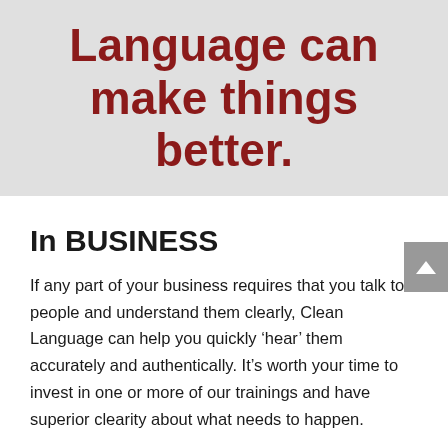Language can make things better.
In BUSINESS
If any part of your business requires that you talk to people and understand them clearly, Clean Language can help you quickly ‘hear’ them accurately and authentically. It’s worth your time to invest in one or more of our trainings and have superior clearity about what needs to happen.